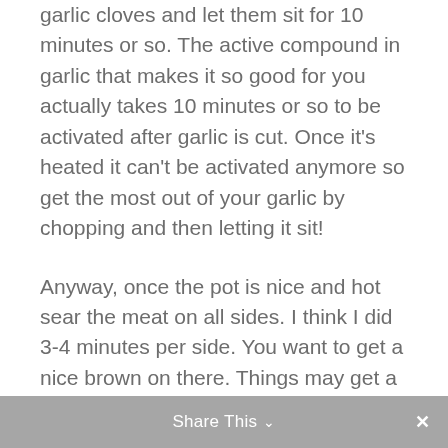garlic cloves and let them sit for 10 minutes or so. The active compound in garlic that makes it so good for you actually takes 10 minutes or so to be activated after garlic is cut. Once it's heated it can't be activated anymore so get the most out of your garlic by chopping and then letting it sit!
Anyway, once the pot is nice and hot sear the meat on all sides. I think I did 3-4 minutes per side. You want to get a nice brown on there. Things may get a little messy and a little spattery. Or maybe that's just when I do it.
When the meat is all browned take it out of the pot. Get all the brown bits of flavor off the
Share This ∨  ✕